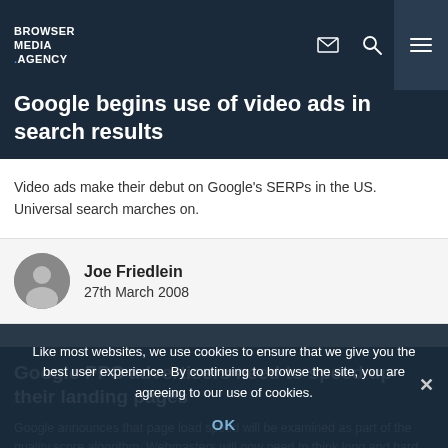BROWSER MEDIA .AGENCY
Google begins use of video ads in search results
Video ads make their debut on Google's SERPs in the US. Universal search marches on.
Joe Friedlein
27th March 2008
Google PPC advertisers need to speed up their landing pages
Google announces that page load speed will be examined as part of the quality score algorithm. Webmasters will now need to think long and hard about cheap, slow hosting.
READ MORE
Like most websites, we use cookies to ensure that we give you the best user experience. By continuing to browse the site, you are agreeing to our use of cookies.
OK